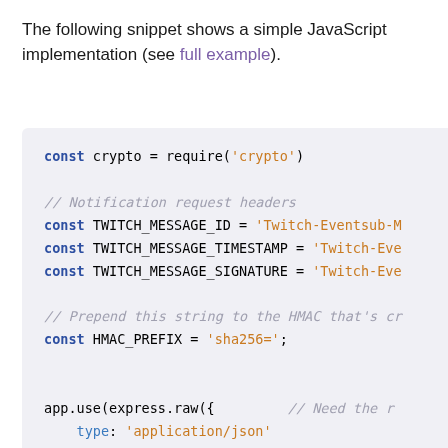The following snippet shows a simple JavaScript implementation (see full example).
[Figure (screenshot): JavaScript code snippet showing const declarations for crypto, TWITCH_MESSAGE_ID, TWITCH_MESSAGE_TIMESTAMP, TWITCH_MESSAGE_SIGNATURE, HMAC_PREFIX, and app.use(express.raw({type: 'application/json'})) with ellipsis and let secret = getSecret();]